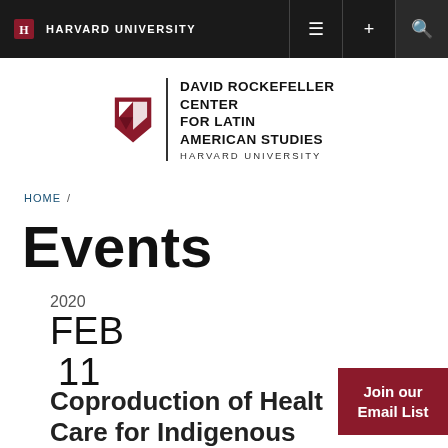HARVARD UNIVERSITY
[Figure (logo): David Rockefeller Center for Latin American Studies, Harvard University logo with crimson shield]
HOME /
Events
2020
FEB
11
Coproduction of Health Care for Indigenous
Join our Email List